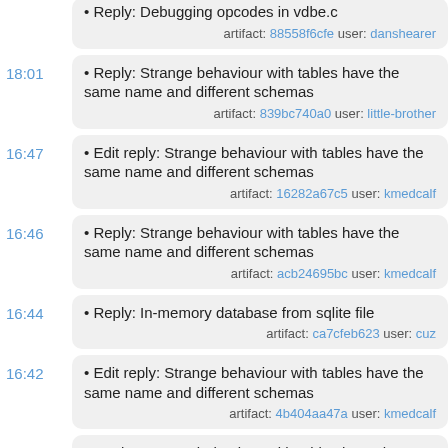• Reply: Debugging opcodes in vdbe.c
artifact: 88558f6cfe user: danshearer
18:01 • Reply: Strange behaviour with tables have the same name and different schemas
artifact: 839bc740a0 user: little-brother
16:47 • Edit reply: Strange behaviour with tables have the same name and different schemas
artifact: 16282a67c5 user: kmedcalf
16:46 • Reply: Strange behaviour with tables have the same name and different schemas
artifact: acb24695bc user: kmedcalf
16:44 • Reply: In-memory database from sqlite file
artifact: ca7cfeb623 user: cuz
16:42 • Edit reply: Strange behaviour with tables have the same name and different schemas
artifact: 4b404aa47a user: kmedcalf
16:41 • Reply: Strange behaviour with tables have the